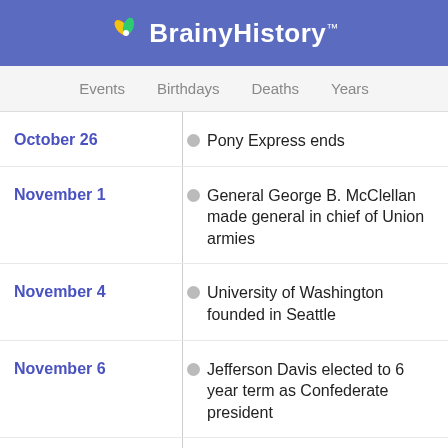BrainyHistory™
Events  Birthdays  Deaths  Years
October 26 — Pony Express ends
November 1 — General George B. McClellan made general in chief of Union armies
November 4 — University of Washington founded in Seattle
November 6 — Jefferson Davis elected to 6 year term as Confederate president
November 7 — Battle of Belmont, MO